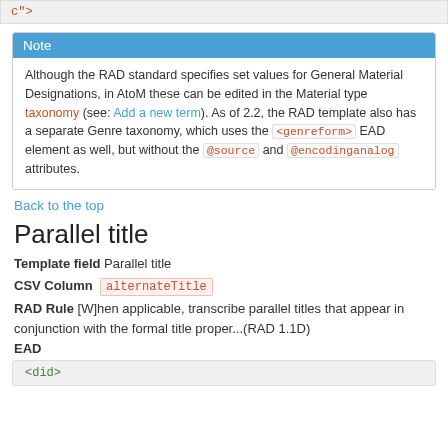c">
Note
Although the RAD standard specifies set values for General Material Designations, in AtoM these can be edited in the Material type taxonomy (see: Add a new term). As of 2.2, the RAD template also has a separate Genre taxonomy, which uses the <genreform> EAD element as well, but without the @source and @encodinganalog attributes.
Back to the top
Parallel title
Template field  Parallel title
CSV Column  alternateTitle
RAD Rule [W]hen applicable, transcribe parallel titles that appear in conjunction with the formal title proper...(RAD 1.1D)
EAD
<did>